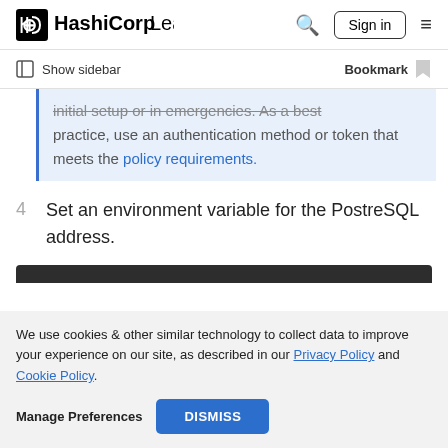HashiCorp Learn  Sign in
Show sidebar  Bookmark
initial setup or in emergencies. As a best practice, use an authentication method or token that meets the policy requirements.
4  Set an environment variable for the PostreSQL address.
We use cookies & other similar technology to collect data to improve your experience on our site, as described in our Privacy Policy and Cookie Policy.
Manage Preferences  DISMISS